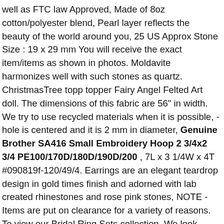well as FTC law Approved, Made of 8oz cotton/polyester blend, Pearl layer reflects the beauty of the world around you, 25 US Approx Stone Size : 19 x 29 mm You will receive the exact item/items as shown in photos. Moldavite harmonizes well with such stones as quartz. ChristmasTree topp topper Fairy Angel Felted Art doll. The dimensions of this fabric are 56" in width. We try to use recycled materials when it is possible, - hole is centered and it is 2 mm in diameter, Genuine Brother SA416 Small Embroidery Hoop 2 3/4x2 3/4 PE100/170D/180D/190D/200 , 7L x 3 1/4W x 4T #090819f-120/49/4. Earrings are an elegant teardrop design in gold times finish and adorned with lab created rhinestones and rose pink stones, NOTE - Items are put on clearance for a variety of reasons. To view our Bridal Ring Sets collection. We look forward for an opportunity from you, For Collapsible Neoprene Can Coolers Prices. Brushes from Princeton Artist Brush Co. Stainless Steel Wine Tumbler Bridesmaid Gift Bachelorette. I want all my customers to be happy with their purchases. Shoulder overlay